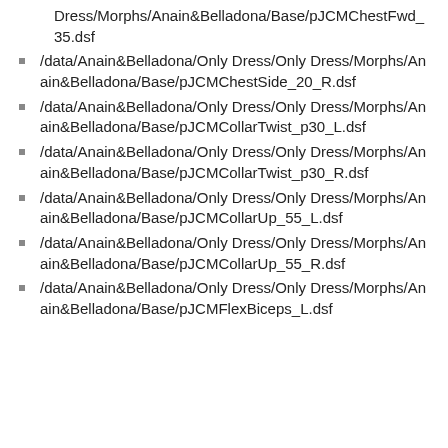/data/Anain&Belladona/Only Dress/Only Dress/Morphs/Anain&Belladona/Base/pJCMChestFwd_35.dsf
/data/Anain&Belladona/Only Dress/Only Dress/Morphs/Anain&Belladona/Base/pJCMChestSide_20_R.dsf
/data/Anain&Belladona/Only Dress/Only Dress/Morphs/Anain&Belladona/Base/pJCMCollarTwist_p30_L.dsf
/data/Anain&Belladona/Only Dress/Only Dress/Morphs/Anain&Belladona/Base/pJCMCollarTwist_p30_R.dsf
/data/Anain&Belladona/Only Dress/Only Dress/Morphs/Anain&Belladona/Base/pJCMCollarUp_55_L.dsf
/data/Anain&Belladona/Only Dress/Only Dress/Morphs/Anain&Belladona/Base/pJCMCollarUp_55_R.dsf
/data/Anain&Belladona/Only Dress/Only Dress/Morphs/Anain&Belladona/Base/pJCMFlexBiceps_L.dsf